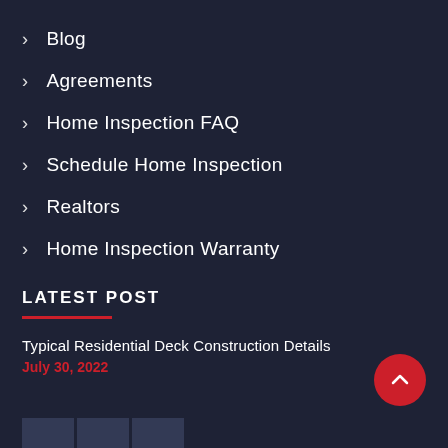Blog
Agreements
Home Inspection FAQ
Schedule Home Inspection
Realtors
Home Inspection Warranty
LATEST POST
Typical Residential Deck Construction Details
July 30, 2022